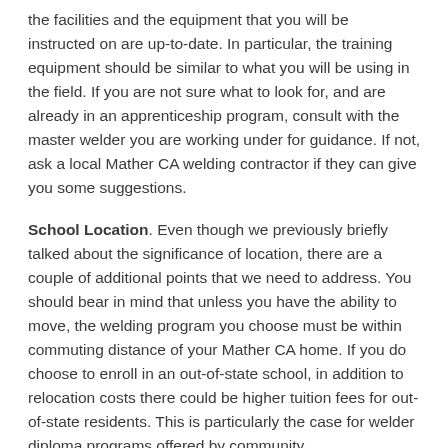the facilities and the equipment that you will be instructed on are up-to-date. In particular, the training equipment should be similar to what you will be using in the field. If you are not sure what to look for, and are already in an apprenticeship program, consult with the master welder you are working under for guidance. If not, ask a local Mather CA welding contractor if they can give you some suggestions.
School Location. Even though we previously briefly talked about the significance of location, there are a couple of additional points that we need to address. You should bear in mind that unless you have the ability to move, the welding program you choose must be within commuting distance of your Mather CA home. If you do choose to enroll in an out-of-state school, in addition to relocation costs there could be higher tuition fees for out-of-state residents. This is particularly the case for welder diploma programs offered by community